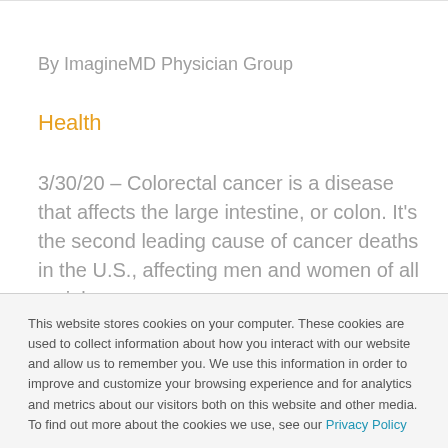By ImagineMD Physician Group
Health
3/30/20 – Colorectal cancer is a disease that affects the large intestine, or colon. It's the second leading cause of cancer deaths in the U.S., affecting men and women of all racial…
This website stores cookies on your computer. These cookies are used to collect information about how you interact with our website and allow us to remember you. We use this information in order to improve and customize your browsing experience and for analytics and metrics about our visitors both on this website and other media. To find out more about the cookies we use, see our Privacy Policy
Accept